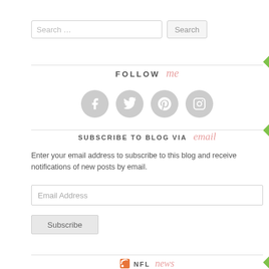[Figure (screenshot): Search bar with text 'Search ...' and a 'Search' button]
FOLLOW me
[Figure (infographic): Four circular social media icons: Facebook, Twitter, Pinterest, Instagram (light gray circles with white icons)]
SUBSCRIBE TO BLOG VIA email
Enter your email address to subscribe to this blog and receive notifications of new posts by email.
[Figure (screenshot): Email Address input field]
[Figure (screenshot): Subscribe button]
NFL news